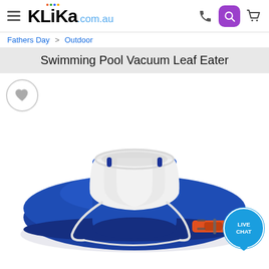KLIKA.com.au
Fathers Day > Outdoor
Swimming Pool Vacuum Leaf Eater
[Figure (photo): Top-down close-up photo of a blue swimming pool leaf eater vacuum device. The device has a large round blue plastic dome base with a smaller blue cylindrical chamber in the center. A white mesh/fabric bag sits in the top of the cylindrical chamber. A white rope handle hangs from the side. An orange garden hose connector is visible on the right side. A small blue pin/valve is visible on the top left and top right of the central cylinder. The background is white.]